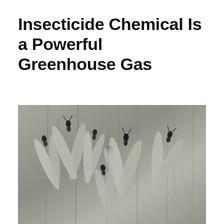Insecticide Chemical Is a Powerful Greenhouse Gas
[Figure (photo): Close-up photograph of several termites with white wings on a gray wood surface. Multiple termites with dark heads and elongated pale wings are visible clustered together and spread across the textured wooden background.]